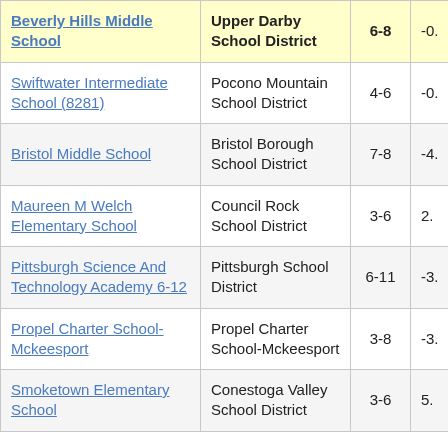| School | District | Grades | Value |
| --- | --- | --- | --- |
| Beverly Hills Middle School | Upper Darby School District | 6-8 | -0. |
| Swiftwater Intermediate School (8281) | Pocono Mountain School District | 4-6 | -0. |
| Bristol Middle School | Bristol Borough School District | 7-8 | -4. |
| Maureen M Welch Elementary School | Council Rock School District | 3-6 | 2. |
| Pittsburgh Science And Technology Academy 6-12 | Pittsburgh School District | 6-11 | -3. |
| Propel Charter School-Mckeesport | Propel Charter School-Mckeesport | 3-8 | -3. |
| Smoketown Elementary School | Conestoga Valley School District | 3-6 | 5. |